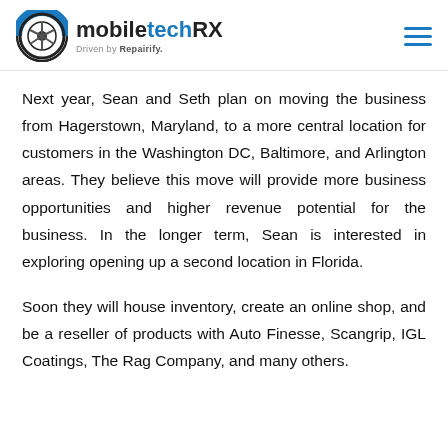mobiletechRX — Driven by Repairify.
Next year, Sean and Seth plan on moving the business from Hagerstown, Maryland, to a more central location for customers in the Washington DC, Baltimore, and Arlington areas. They believe this move will provide more business opportunities and higher revenue potential for the business. In the longer term, Sean is interested in exploring opening up a second location in Florida.
Soon they will house inventory, create an online shop, and be a reseller of products with Auto Finesse, Scangrip, IGL Coatings, The Rag Company, and many others.